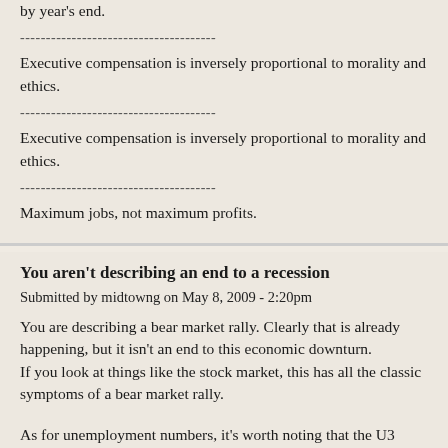by year's end.
Executive compensation is inversely proportional to morality and ethics.
Executive compensation is inversely proportional to morality and ethics.
Maximum jobs, not maximum profits.
You aren't describing an end to a recession
Submitted by midtowng on May 8, 2009 - 2:20pm
You are describing a bear market rally. Clearly that is already happening, but it isn't an end to this economic downturn.
If you look at things like the stock market, this has all the classic symptoms of a bear market rally.
As for unemployment numbers, it's worth noting that the U3 didn't exist in the 1930's. It was under